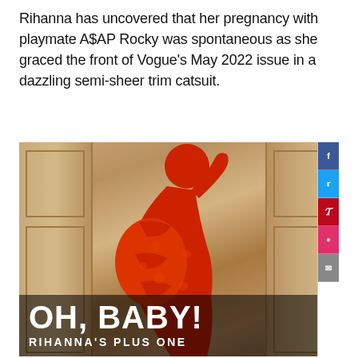Rihanna has uncovered that her pregnancy with playmate A$AP Rocky was spontaneous as she graced the front of Vogue's May 2022 issue in a dazzling semi-sheer trim catsuit.
[Figure (photo): Rihanna wearing a red semi-sheer lace catsuit, posing sideways showing her pregnant belly, standing near ornate cream-colored paneled doors. Overlay text at bottom reads 'OH, BABY! RIHANNA'S PLUS ONE'. Social media share icons (Facebook, Twitter, Pinterest, Instagram, Email) appear in a vertical bar on the right side.]